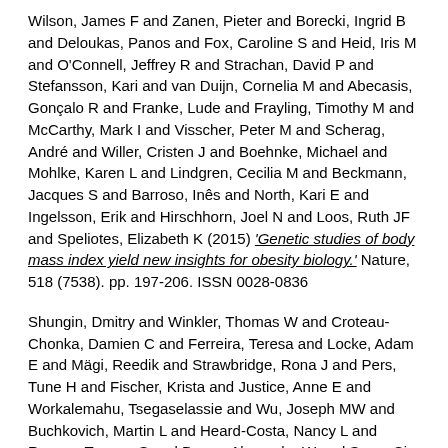Wilson, James F and Zanen, Pieter and Borecki, Ingrid B and Deloukas, Panos and Fox, Caroline S and Heid, Iris M and O'Connell, Jeffrey R and Strachan, David P and Stefansson, Kari and van Duijn, Cornelia M and Abecasis, Gonçalo R and Franke, Lude and Frayling, Timothy M and McCarthy, Mark I and Visscher, Peter M and Scherag, André and Willer, Cristen J and Boehnke, Michael and Mohlke, Karen L and Lindgren, Cecilia M and Beckmann, Jacques S and Barroso, Inês and North, Kari E and Ingelsson, Erik and Hirschhorn, Joel N and Loos, Ruth JF and Speliotes, Elizabeth K (2015) 'Genetic studies of body mass index yield new insights for obesity biology.' Nature, 518 (7538). pp. 197-206. ISSN 0028-0836
Shungin, Dmitry and Winkler, Thomas W and Croteau-Chonka, Damien C and Ferreira, Teresa and Locke, Adam E and Mägi, Reedik and Strawbridge, Rona J and Pers, Tune H and Fischer, Krista and Justice, Anne E and Workalemahu, Tsegaselassie and Wu, Joseph MW and Buchkovich, Martin L and Heard-Costa, Nancy L and Roman, Tamara S and Drong, Alexander W and Song, Ci and Gustafsson, Stefan and Day, Felix R and Esko, Tonu and Fall, Tove and Kutalik, Zoltán and Luan, Jian'an and Randall, Joshua C and Scherag, André and Vedantam,